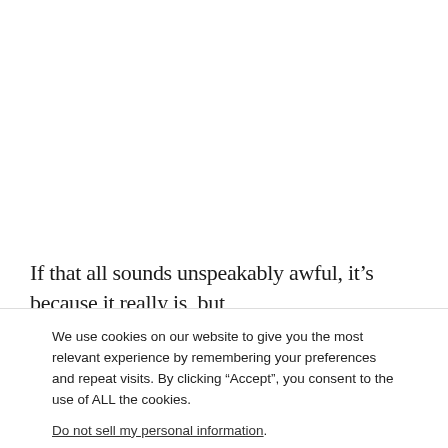If that all sounds unspeakably awful, it’s because it really is, but
We use cookies on our website to give you the most relevant experience by remembering your preferences and repeat visits. By clicking “Accept”, you consent to the use of ALL the cookies.
Do not sell my personal information.
Cookie Settings  Accept